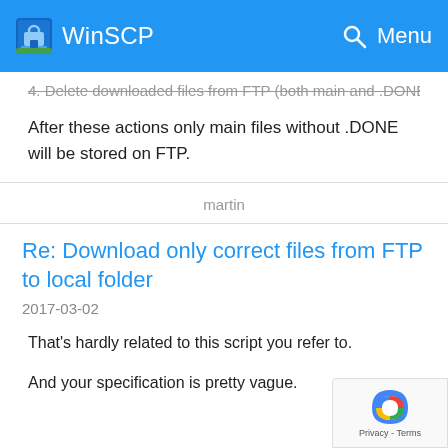WinSCP  Menu
4. Delete downloaded files from FTP (both main and .DONE)
After these actions only main files without .DONE will be stored on FTP.
martin
Re: Download only correct files from FTP to local folder
2017-03-02
That's hardly related to this script you refer to.
And your specification is pretty vague.